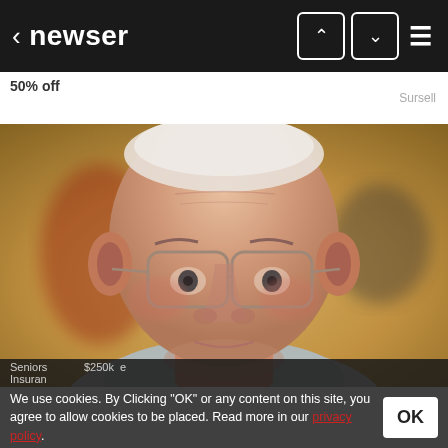< newser
50% off
Sursell
[Figure (photo): Close-up portrait of an elderly man with white hair, wearing wire-framed glasses and a grey jacket, looking directly at the camera with a serious expression. Background is blurred warm yellows and greens.]
We use cookies. By Clicking "OK" or any content on this site, you agree to allow cookies to be placed. Read more in our privacy policy.
OK
Seniors   $250k  Insurance